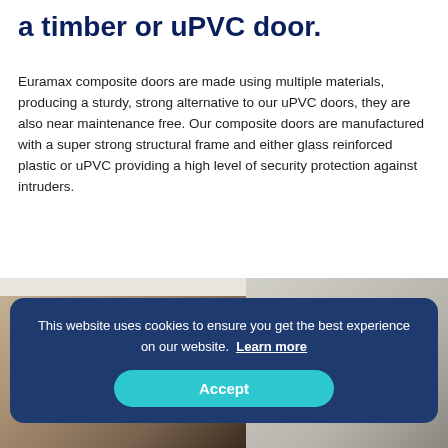a timber or uPVC door.
Euramax composite doors are made using multiple materials, producing a sturdy, strong alternative to our uPVC doors, they are also near maintenance free. Our composite doors are manufactured with a super strong structural frame and either glass reinforced plastic or uPVC providing a high level of security protection against intruders.
[Figure (photo): Photograph showing composite doors installed at a property, partially obscured by cookie consent banner]
This website uses cookies to ensure you get the best experience on our website.  Learn more
Accept